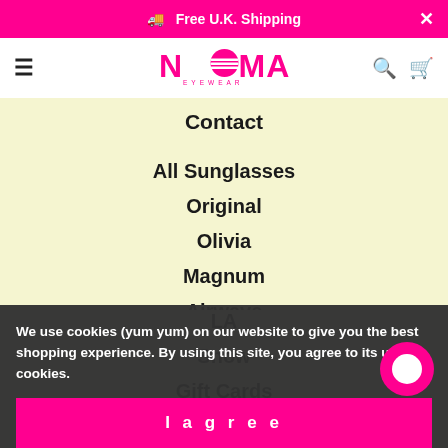🚚 Free U.K. Shipping  ×
[Figure (logo): NOMAD EYEWEAR logo in hot pink with stylized O and horizontal lines]
Contact
All Sunglasses
Original
Olivia
Magnum
Airwave
LA
Snow
Gift Cards
We use cookies (yum yum) on our website to give you the best shopping experience. By using this site, you agree to its use of cookies.
I a g r e e
they are!